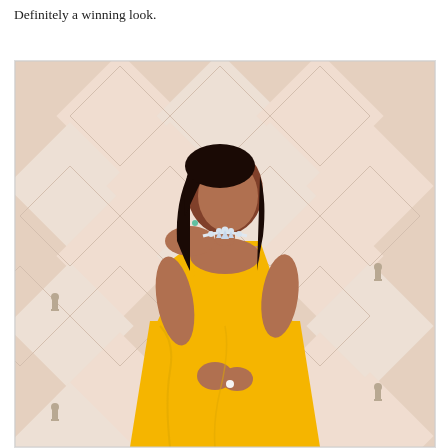Definitely a winning look.
[Figure (photo): A woman wearing a bright yellow off-the-shoulder gown and a diamond necklace, posing on a red carpet with an Oscars geometric backdrop featuring diamond shapes and Oscar statuette cutouts visible in the background.]